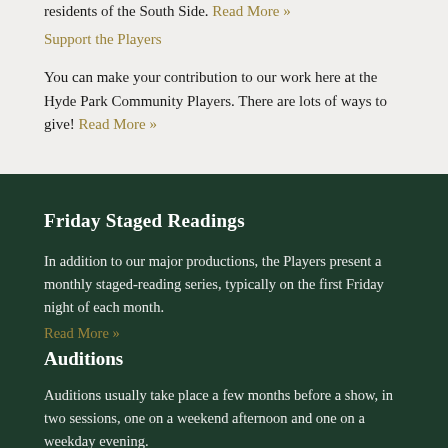residents of the South Side. Read More »
Support the Players
You can make your contribution to our work here at the Hyde Park Community Players. There are lots of ways to give! Read More »
Friday Staged Readings
In addition to our major productions, the Players present a monthly staged-reading series, typically on the first Friday night of each month.
Read More »
Auditions
Auditions usually take place a few months before a show, in two sessions, one on a weekend afternoon and one on a weekday evening.